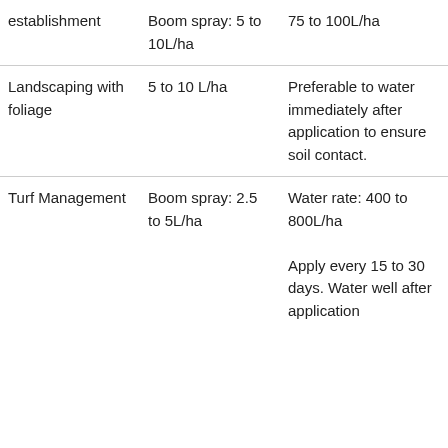|  | Application Method | Notes |
| --- | --- | --- |
| establishment | Boom spray: 5 to 10L/ha | 75 to 100L/ha |
| Landscaping with foliage | 5 to 10 L/ha | Preferable to water immediately after application to ensure soil contact. |
| Turf Management | Boom spray: 2.5 to 5L/ha | Water rate: 400 to 800L/ha
Apply every 15 to 30 days. Water well after application |